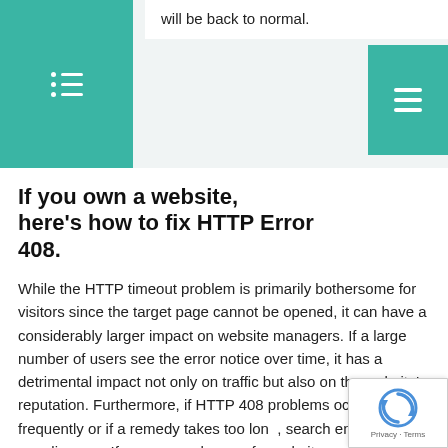will be back to normal.
navigation icons left and right
If you own a website, here’s how to fix HTTP Error 408.
While the HTTP timeout problem is primarily bothersome for visitors since the target page cannot be opened, it can have a considerably larger impact on website managers. If a large number of users see the error notice over time, it has a detrimental impact not only on traffic but also on the website’s reputation. Furthermore, if HTTP 408 problems occur more frequently or if a remedy takes too long, search engines may penalize you. If you are in charge of a website, you should respond